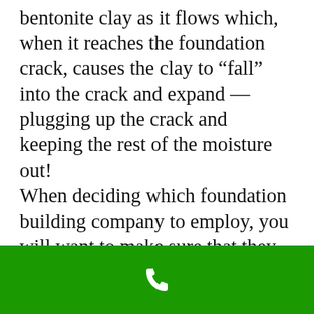bentonite clay as it flows which, when it reaches the foundation crack, causes the clay to “fall” into the crack and expand — plugging up the crack and keeping the rest of the moisture out! When deciding which foundation building company to employ, you will want to make sure that they are properly educated on the use and installation of drain tile. Drain tile is essential to waterproofing house foundations and while there are plenty of contractors and
[Figure (other): Green bar at bottom of screen with a white phone/call icon centered in it, resembling a mobile phone call button UI element.]